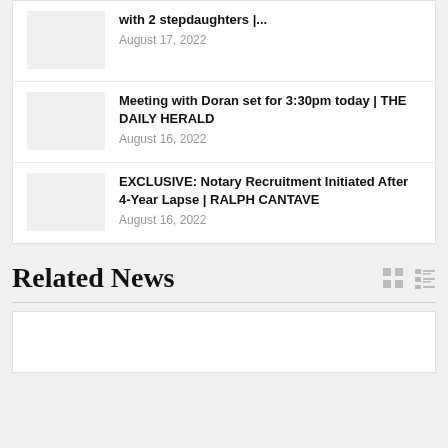with 2 stepdaughters |...
August 17, 2022
Meeting with Doran set for 3:30pm today | THE DAILY HERALD
August 16, 2022
EXCLUSIVE: Notary Recruitment Initiated After 4-Year Lapse | RALPH CANTAVE
August 16, 2022
Related News
[Figure (other): Gray placeholder card at bottom of page]